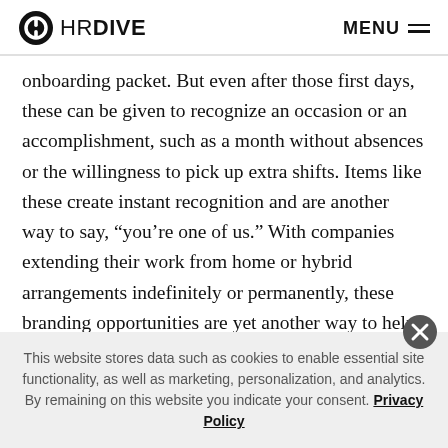HR DIVE  MENU
onboarding packet. But even after those first days, these can be given to recognize an occasion or an accomplishment, such as a month without absences or the willingness to pick up extra shifts. Items like these create instant recognition and are another way to say, “you’re one of us.” With companies extending their work from home or hybrid arrangements indefinitely or permanently, these branding opportunities are yet another way to help employees feel recognized, appreciated, and connected.
This website stores data such as cookies to enable essential site functionality, as well as marketing, personalization, and analytics. By remaining on this website you indicate your consent. Privacy Policy